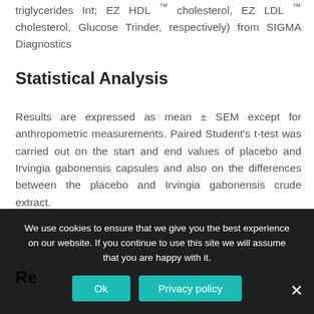triglycerides Int; EZ HDL ™ cholesterol, EZ LDL ™ cholesterol, Glucose Trinder, respectively) from SIGMA Diagnostics
Statistical Analysis
Results are expressed as mean ± SEM except for anthropometric measurements. Paired Student's t-test was carried out on the start and end values of placebo and Irvingia gabonensis capsules and also on the differences between the placebo and Irvingia gabonensis crude extract.
Results
We use cookies to ensure that we give you the best experience on our website. If you continue to use this site we will assume that you are happy with it.